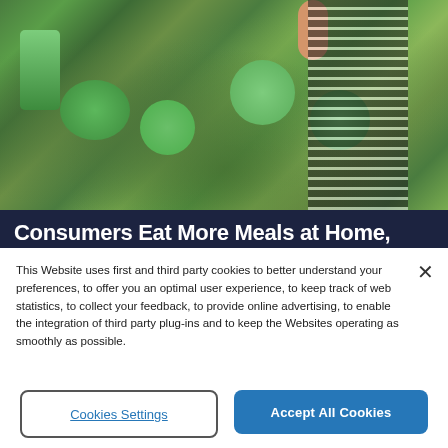[Figure (photo): Woman shopping for vegetables in a grocery store produce section, holding a head of cabbage, wearing a striped shirt]
Consumers Eat More Meals at Home,
This Website uses first and third party cookies to better understand your preferences, to offer you an optimal user experience, to keep track of web statistics, to collect your feedback, to provide online advertising, to enable the integration of third party plug-ins and to keep the Websites operating as smoothly as possible.
Cookies Settings
Accept All Cookies